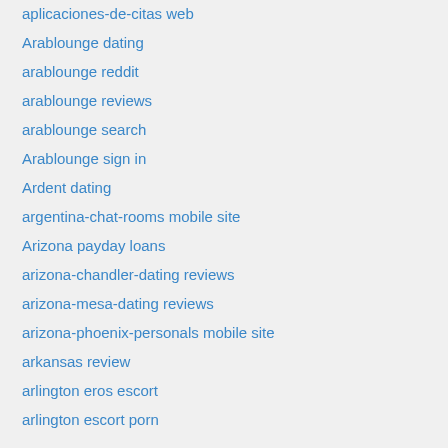aplicaciones-de-citas web
Arablounge dating
arablounge reddit
arablounge reviews
arablounge search
Arablounge sign in
Ardent dating
argentina-chat-rooms mobile site
Arizona payday loans
arizona-chandler-dating reviews
arizona-mesa-dating reviews
arizona-phoenix-personals mobile site
arkansas review
arlington eros escort
arlington escort porn